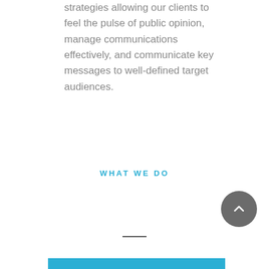strategies allowing our clients to feel the pulse of public opinion, manage communications effectively, and communicate key messages to well-defined target audiences.
WHAT WE DO
[Figure (other): Dark grey circular scroll-to-top button with a white upward chevron arrow]